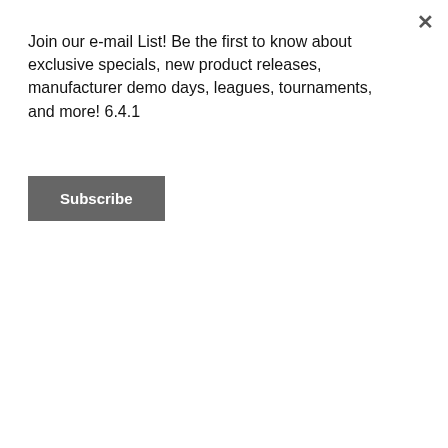Join our e-mail List! Be the first to know about exclusive specials, new product releases, manufacturer demo days, leagues, tournaments, and more! 6.4.1
Subscribe
Home › Motiv Trident Nemesis Bowling Ball
[Figure (photo): Motiv Trident Nemesis Bowling Ball — dark navy and teal swirled ball with a white trident/shield logo on the front, with a green Sale badge in the top-right area]